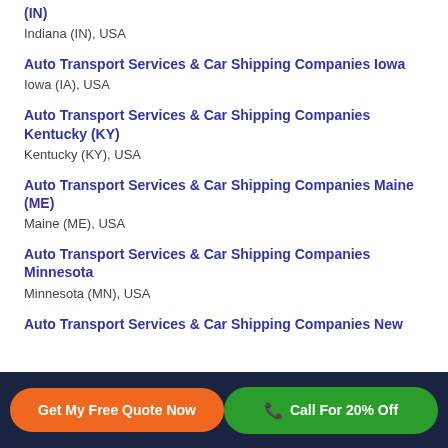(IN)
Indiana (IN), USA
Auto Transport Services & Car Shipping Companies Iowa
Iowa (IA), USA
Auto Transport Services & Car Shipping Companies Kentucky (KY)
Kentucky (KY), USA
Auto Transport Services & Car Shipping Companies Maine (ME)
Maine (ME), USA
Auto Transport Services & Car Shipping Companies Minnesota
Minnesota (MN), USA
Auto Transport Services & Car Shipping Companies New
Get My Free Quote Now | Call For 20% Off